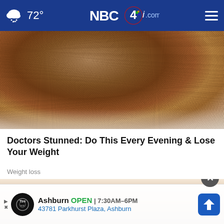72° NBC4i.com
[Figure (photo): Close-up photo of a round food item covered in brown granulated powder/crumble topping on a marble surface]
Doctors Stunned: Do This Every Evening & Lose Your Weight
Weight loss
[Figure (photo): Partial photo of a blonde-haired person, with an advertisement overlay at the bottom: Ashburn OPEN 7:30AM-6PM, 43781 Parkhurst Plaza, Ashburn (Tire & Auto)]